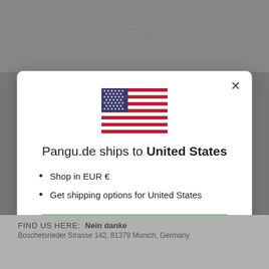[Figure (screenshot): Background website page with gray overlay, showing a navigation header with a logo at the top, and a modal dialog popup in the center.]
Pangu.de ships to United States
Shop in EUR €
Get shipping options for United States
Shop now
Change shipping country
FIND US HERE:   Nein danke
Boschetsrieder Strasse 142, 81379 Munich, Germany